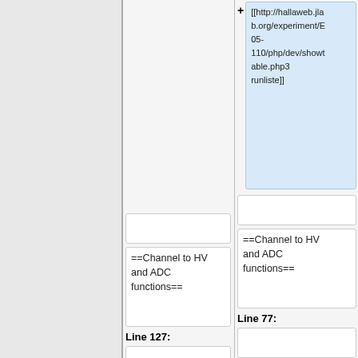[[http://hallaweb.jlab.org/experiment/E05-110/php/dev/showtable.php3 runliste]]
==Channel to HV and ADC functions==
==Channel to HV and ADC functions==
Line 127:
Line 77:
== Long cosmics ==
== Long cosmics ==
== HV changes ==
[[http://www.jlab.or
+
+
+
+
+